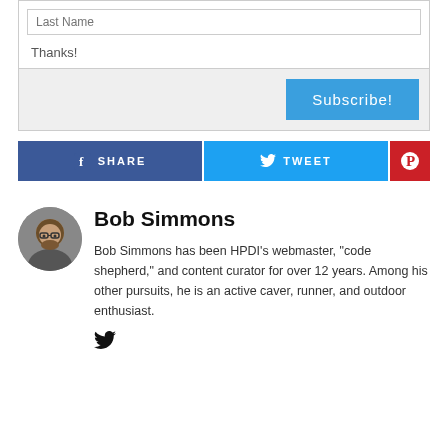Last Name
Thanks!
Subscribe!
SHARE
TWEET
[Figure (logo): Pinterest icon (red square with white P circle)]
[Figure (photo): Circular avatar photo of Bob Simmons, a bearded man with glasses]
Bob Simmons
Bob Simmons has been HPDI's webmaster, "code shepherd," and content curator for over 12 years. Among his other pursuits, he is an active caver, runner, and outdoor enthusiast.
[Figure (logo): Twitter bird icon]